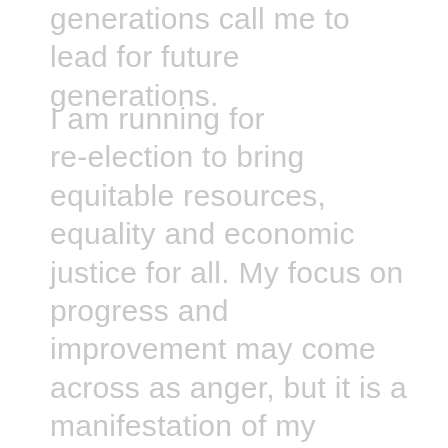generations call me to lead for future generations.
I am running for re-election to bring equitable resources, equality and economic justice for all. My focus on progress and improvement may come across as anger, but it is a manifestation of my passion to make our community a better place for our children. I believe in the Native American Proverb: “We don’t inherit the earth from our ancestors, we borrow this earth from our children.” I believe, ‘We the People’ have the power to preserve this earth, shape our country, and empower our